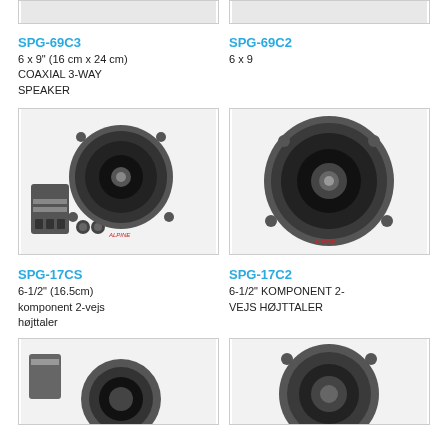[Figure (photo): Partial view of SPG-69C3 speaker product image (top cropped)]
[Figure (photo): Partial view of SPG-69C2 speaker product image (top cropped)]
SPG-69C3
6 x 9" (16 cm x 24 cm)
COAXIAL 3-WAY SPEAKER
SPG-69C2
6 x 9
[Figure (photo): SPG-17CS 6-1/2 component speaker set with crossover and tweeters]
[Figure (photo): SPG-17C2 6-1/2 coaxial speaker, single unit shown]
SPG-17CS
6-1/2" (16.5cm)
komponent 2-vejs højttaler
SPG-17C2
6-1/2" KOMPONENT 2-VEJS HØJTTALER
[Figure (photo): Partial view of bottom-left speaker product (cropped)]
[Figure (photo): Partial view of bottom-right speaker product (cropped)]